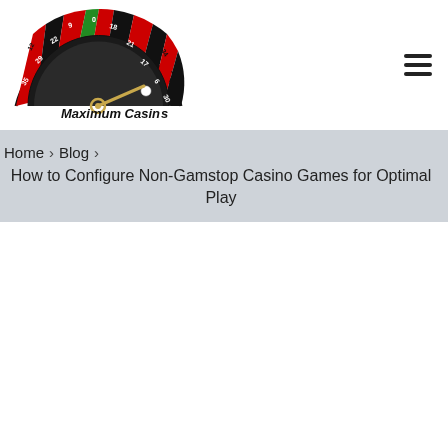[Figure (logo): Maximum Casinos logo featuring a roulette wheel top half with red, black and green segments showing numbers, and a golden pointer, with text 'Maximum Casinos' in bold black lettering]
Home › Blog › How to Configure Non-Gamstop Casino Games for Optimal Play